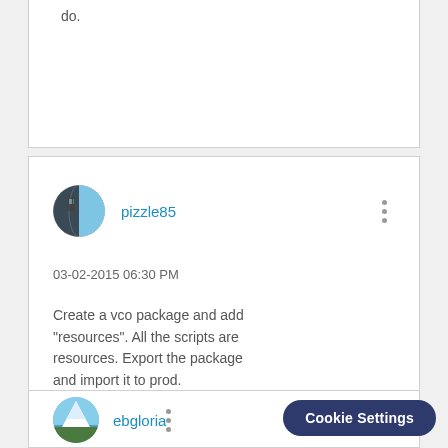do.
[Figure (screenshot): User avatar for pizzle85 — half dark globe / half blue sky image, circular crop]
pizzle85
03-02-2015 06:30 PM
Create a vco package and add "resources". All the scripts are resources. Export the package and import it to prod.
[Figure (screenshot): User avatar for ebgloria — snowy mountain with blue sky, circular crop]
ebgloria
Cookie Settings